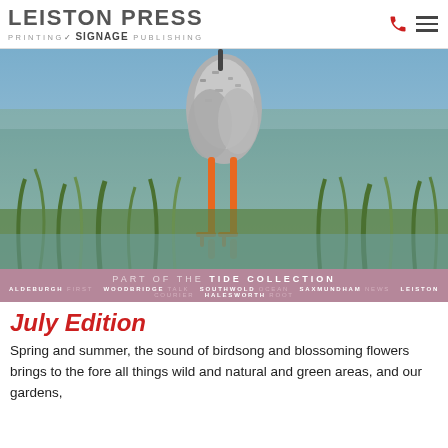LEISTON PRESS — PRINTING Signage PUBLISHING
[Figure (photo): Close-up photograph of a wading bird (redshank) with orange legs standing in shallow water among green reeds and grass, with a blurred watery background.]
PART OF THE TIDE COLLECTION — ALDEBURGH FIRST  WOODBRIDGE TALK  SOUTHWOLD OCEAN  SAXMUNDHAM NEWS  LEISTON COURIER  HALESWORTH ROOT
July Edition
Spring and summer, the sound of birdsong and blossoming flowers brings to the fore all things wild and natural and green areas, and our gardens,